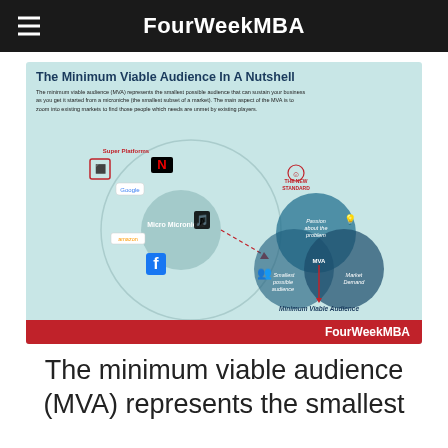FourWeekMBA
[Figure (infographic): The Minimum Viable Audience In A Nutshell infographic showing a Venn diagram with three overlapping circles: Passion about the problem, Market Demand, and Smallest possible audience, with MVA at the center intersection. On the left, a large circle shows Super Platforms (Netflix, Google, TikTok, Facebook, Amazon) with a Micro Microniche subset. A dashed arrow points from the microniche to the smallest possible audience circle. The new standard label appears at top. FourWeekMBA branding at bottom on red bar.]
The minimum viable audience (MVA) represents the smallest